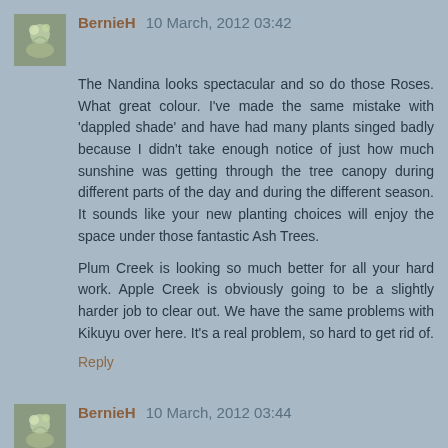[Figure (photo): Avatar thumbnail showing a plant/flower image for user BernieH]
BernieH 10 March, 2012 03:42
The Nandina looks spectacular and so do those Roses. What great colour. I've made the same mistake with 'dappled shade' and have had many plants singed badly because I didn't take enough notice of just how much sunshine was getting through the tree canopy during different parts of the day and during the different season. It sounds like your new planting choices will enjoy the space under those fantastic Ash Trees.
Plum Creek is looking so much better for all your hard work. Apple Creek is obviously going to be a slightly harder job to clear out. We have the same problems with Kikuyu over here. It's a real problem, so hard to get rid of.
Reply
[Figure (photo): Avatar thumbnail showing a plant/flower image for user BernieH]
BernieH 10 March, 2012 03:44
I meant to add that I'm glad to see so many bloggers highlighting the quandary that Stuart is in with Blotanical. It has been a great platform for getting blogs out there and it